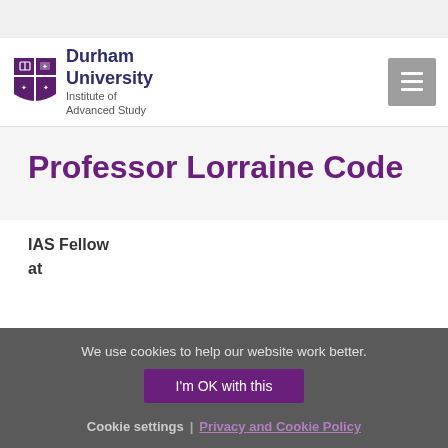Durham University Institute of Advanced Study
Professor Lorraine Code
IAS Fellow
at
We use cookies to help our website work better.
I'm OK with this
Cookie settings | Privacy and Cookie Policy